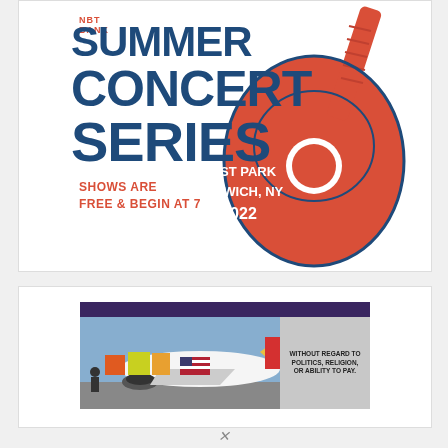[Figure (illustration): NBT Bank Summer Concert Series poster with large guitar illustration. Text reads: NBT BANK SUMMER CONCERT SERIES. SHOWS ARE FREE & BEGIN AT 7. EAST PARK NORWICH, NY 2022. Blue and orange/red color scheme on white background.]
[Figure (photo): Advertisement banner with purple header bar, left side showing cargo being loaded onto a Southwest Airlines aircraft, right side gray panel with text: WITHOUT REGARD TO POLITICS, RELIGION, OR ABILITY TO PAY.]